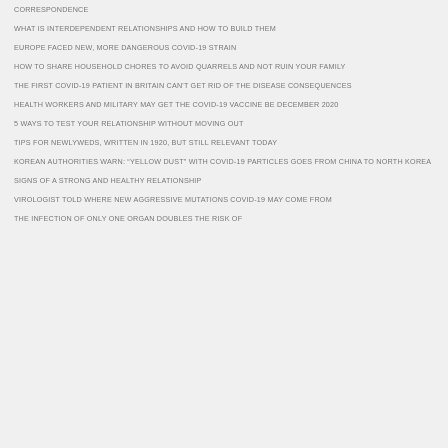CORRESPONDENCE
WHAT IS INTERDEPENDENT RELATIONSHIPS AND HOW TO BUILD THEM
EUROPE FACED NEW, MORE DANGEROUS COVID-19 STRAIN
HOW TO SHARE HOUSEHOLD CHORES TO AVOID QUARRELS AND NOT RUIN YOUR FAMILY
THE FIRST COVID-19 PATIENT IN BRITAIN CAN'T GET RID OF THE DISEASE CONSEQUENCES
HEALTH WORKERS AND MILITARY MAY GET THE COVID-19 VACCINE BE DECEMBER 2020
5 WAYS TO TEST YOUR RELATIONSHIP WITHOUT MOVING OUT
TIPS FOR NEWLYWEDS, WRITTEN IN 1920, BUT STILL RELEVANT TODAY
KOREAN AUTHORITIES WARN: “YELLOW DUST” WITH COVID-19 PARTICLES GOES FROM CHINA TO NORTH KOREA
SIGNS OF A STRONG AND HEALTHY RELATIONSHIP
VIROLOGIST TOLD WHERE NEW AGGRESSIVE MUTATIONS COVID-19 MAY COME FROM
THE INFECTION OF ONLY ONE ORGAN DOUBLES THE RISK OF